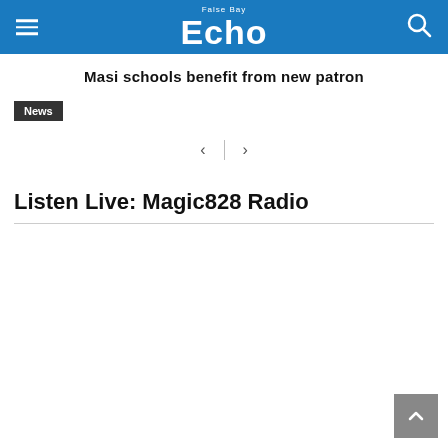False Bay Echo
Masi schools benefit from new patron
News
Listen Live: Magic828 Radio